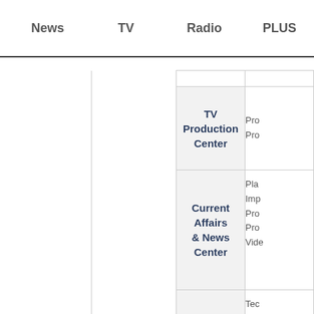News    TV    Radio    PLUS
| News | TV | Radio | PLUS |
| --- | --- | --- | --- |
|  |  | TV Production Center | Pro
Pro |
|  |  | Current Affairs
& News Center | Pla
Imp
Pro
Pro
Vide |
|  |  | Convergence
Technology Center | Tec
Tra
Rad
Pro
New
Edi |